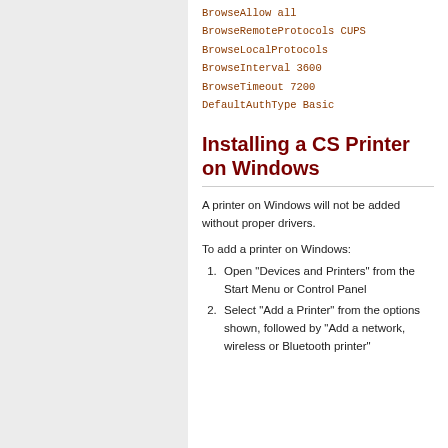BrowseAllow all
BrowseRemoteProtocols CUPS
BrowseLocalProtocols
BrowseInterval 3600
BrowseTimeout 7200
DefaultAuthType Basic
Installing a CS Printer on Windows
A printer on Windows will not be added without proper drivers.
To add a printer on Windows:
Open "Devices and Printers" from the Start Menu or Control Panel
Select "Add a Printer" from the options shown, followed by "Add a network, wireless or Bluetooth printer"